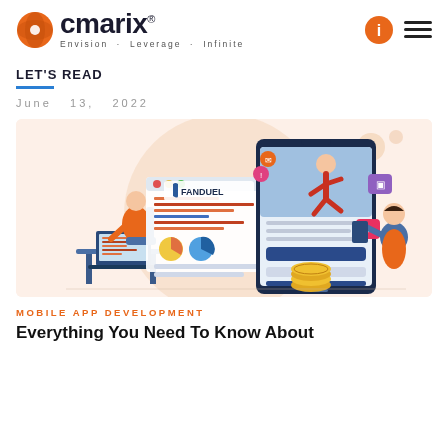cmarix® — Envision · Leverage · Infinite
LET'S READ
June 13, 2022
[Figure (illustration): Illustration showing FanDuel mobile app development scene with a person at a laptop, a large tablet/phone showing a running athlete, code editor window, and a woman holding a tablet, with coins on the floor. Peach/orange background.]
MOBILE APP DEVELOPMENT
Everything You Need To Know About